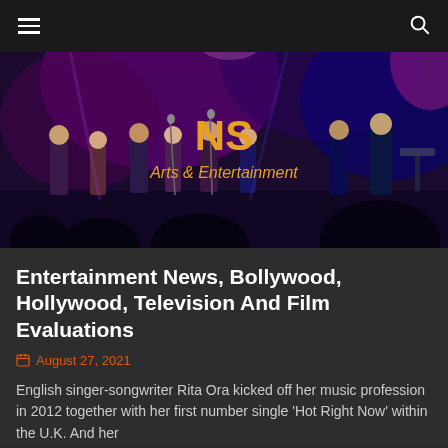≡  [hamburger menu]  [search icon]
[Figure (photo): Concert/performance scene on stage with musicians and choir singers under colorful purple and blue lighting. Band members visible including guitarists and keyboard player. Text overlaid: 'NS' in gold/orange, 'Arts & Entertainment' in gold italic below.]
Entertainment News, Bollywood, Hollywood, Television And Film Evaluations
August 27, 2021
English singer-songwriter Rita Ora kicked off her music profession in 2012 together with her first number single 'Hot Right Now' within the U.K. And her